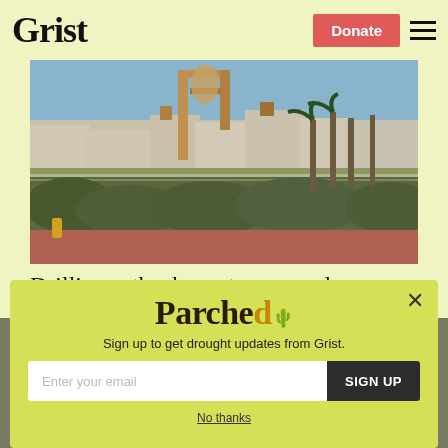Grist
[Figure (photo): Photo of an oil drilling rig/pump jack with industrial equipment in the foreground, a metal fence, green shrubs, palm trees, and residential buildings in the background under a blue sky.]
Drilling setbacks, net-zero, and a nuclear lifeline. Here’s what just happened in
[Figure (screenshot): Modal popup overlay with yellow-green background showing the 'Parched' newsletter signup form. Text reads: 'Sign up to get drought updates from Grist.' with an email input field, SIGN UP button, and 'No thanks' link.]